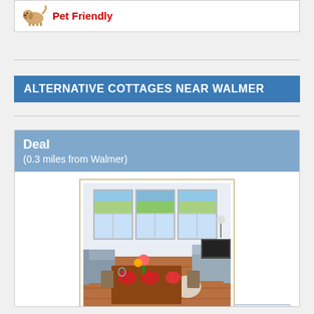[Figure (illustration): Pet Friendly icon with a dog image followed by bold red text 'Pet Friendly']
ALTERNATIVE COTTAGES NEAR WALMER
Deal
(0.3 miles from Walmer)
[Figure (photo): Interior photo of a bright living/dining room with large windows, set dining table with red plates and flowers, grey sofas, and wooden floor.]
▲ TOP